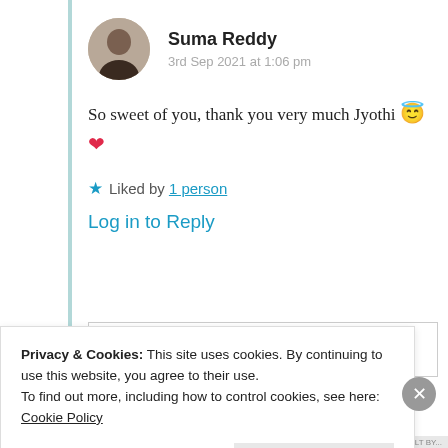Suma Reddy — 3rd Sep 2021 at 1:06 pm
So sweet of you, thank you very much Jyothi 😇❤️
★ Liked by 1 person
Log in to Reply
Privacy & Cookies: This site uses cookies. By continuing to use this website, you agree to their use.
To find out more, including how to control cookies, see here: Cookie Policy
Close and accept